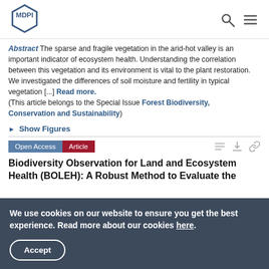MDPI logo with search and menu icons
Abstract The sparse and fragile vegetation in the arid-hot valley is an important indicator of ecosystem health. Understanding the correlation between this vegetation and its environment is vital to the plant restoration. We investigated the differences of soil moisture and fertility in typical vegetation [...] Read more. (This article belongs to the Special Issue Forest Biodiversity, Conservation and Sustainability)
► Show Figures
Open Access Article
Biodiversity Observation for Land and Ecosystem Health (BOLEH): A Robust Method to Evaluate the
We use cookies on our website to ensure you get the best experience. Read more about our cookies here. Accept